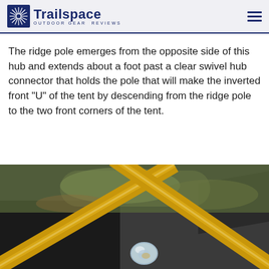Trailspace — Outdoor Gear Reviews
The ridge pole emerges from the opposite side of this hub and extends about a foot past a clear swivel hub connector that holds the pole that will make the inverted front "U" of the tent by descending from the ridge pole to the two front corners of the tent.
[Figure (photo): Close-up photograph of gold/yellow aluminum tent poles meeting at a clear plastic swivel hub connector, with dark tent fabric and blurred green grass background visible.]